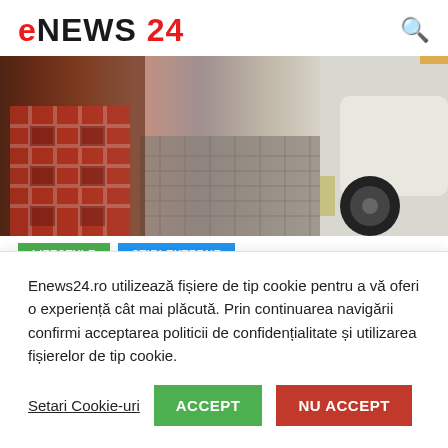eNEWS 24
[Figure (photo): A person in a red plaid shirt walking near a white car on a cobblestone street.]
LIFESTYLE
STIRI EXTERNE
Enews24.ro utilizează fișiere de tip cookie pentru a vă oferi o experiență cât mai plăcută. Prin continuarea navigării confirmi acceptarea politicii de confidențialitate și utilizarea fișierelor de tip cookie.
Setari Cookie-uri | ACCEPT | NU ACCEPT